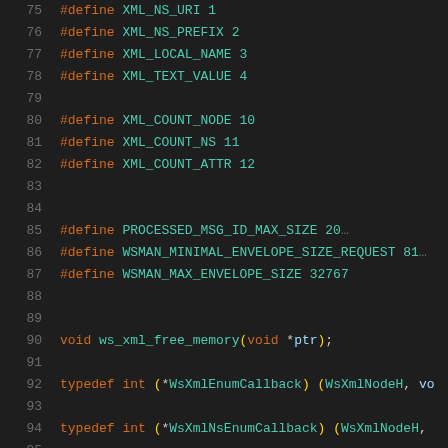75  #define XML_NS_URI 1
76  #define XML_NS_PREFIX 2
77  #define XML_LOCAL_NAME 3
78  #define XML_TEXT_VALUE 4
79
80  #define XML_COUNT_NODE 10
81  #define XML_COUNT_NS 11
82  #define XML_COUNT_ATTR 12
83
84
85  #define PROCESSED_MSG_ID_MAX_SIZE 200
86  #define WSMAN_MINIMAL_ENVELOPE_SIZE_REQUEST 819
87  #define WSMAN_MAX_ENVELOPE_SIZE 32767
88
89
90  void ws_xml_free_memory(void *ptr);
91
92  typedef int (*WsXmlEnumCallback) (WsXmlNodeH, vo
93
94  typedef int (*WsXmlNsEnumCallback) (WsXmlNodeH,
95
96          // Dumping